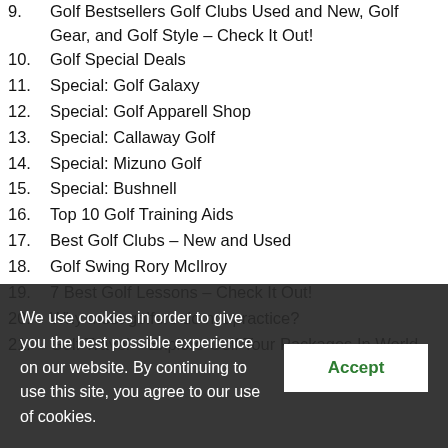9.  Golf Bestsellers Golf Clubs Used and New, Golf Gear, and Golf Style – Check It Out!
10.  Golf Special Deals
11.  Special: Golf Galaxy
12.  Special: Golf Apparell Shop
13.  Special: Callaway Golf
14.  Special: Mizuno Golf
15.  Special: Bushnell
16.  Top 10 Golf Training Aids
17.  Best Golf Clubs – New and Used
18.  Golf Swing Rory McIlroy
19.  7 Best Golf Lessons – Check It Out!
20.  Why most golfers do not practice?
21.  Golf Travel – Explore Golf Tour Packages In World
We use cookies in order to give you the best possible experience on our website. By continuing to use this site, you agree to our use of cookies.
Accept